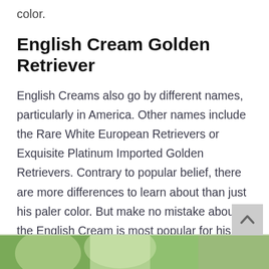color.
English Cream Golden Retriever
English Creams also go by different names, particularly in America. Other names include the Rare White European Retrievers or Exquisite Platinum Imported Golden Retrievers. Contrary to popular belief, there are more differences to learn about than just his paler color. But make no mistake about it, the English Cream is most popular for his shiny white coat! Let’s jump straight in.
[Figure (photo): Partial photo strip at bottom of page showing what appears to be a Golden Retriever dog outdoors with green foliage background]